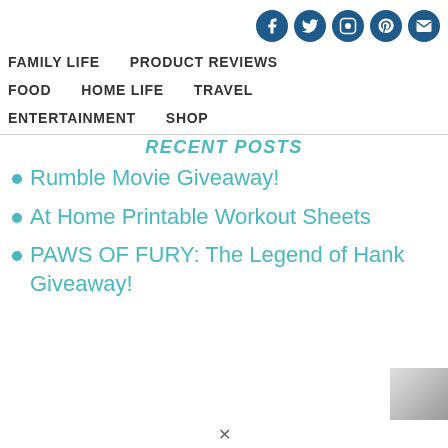Social media icons: Facebook, Twitter, Instagram, Pinterest, Email
FAMILY LIFE
PRODUCT REVIEWS
FOOD
HOME LIFE
TRAVEL
ENTERTAINMENT
SHOP
RECENT POSTS
Rumble Movie Giveaway!
At Home Printable Workout Sheets
PAWS OF FURY: The Legend of Hank Giveaway!